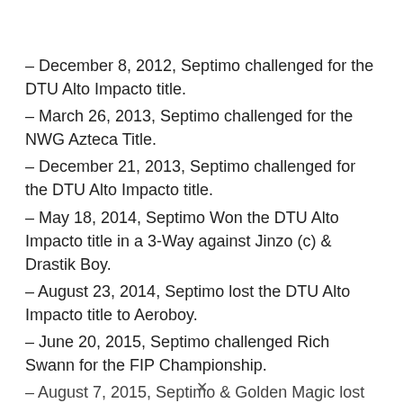– December 8, 2012, Septimo challenged for the DTU Alto Impacto title.
– March 26, 2013, Septimo challenged for the NWG Azteca Title.
– December 21, 2013, Septimo challenged for the DTU Alto Impacto title.
– May 18, 2014, Septimo Won the DTU Alto Impacto title in a 3-Way against Jinzo (c) & Drastik Boy.
– August 23, 2014, Septimo lost the DTU Alto Impacto title to Aeroboy.
– June 20, 2015, Septimo challenged Rich Swann for the FIP Championship.
– August 7, 2015, Septimo & Golden Magic lost to Angel Metalico & Zarco at the Crash.